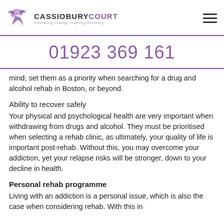CASSIOBURY COURT — Embracing Change, Inspiring Recovery
01923 369 161
mind, set them as a priority when searching for a drug and alcohol rehab in Boston, or beyond.
Ability to recover safely
Your physical and psychological health are very important when withdrawing from drugs and alcohol. They must be prioritised when selecting a rehab clinic, as ultimately, your quality of life is important post-rehab. Without this, you may overcome your addiction, yet your relapse risks will be stronger, down to your decline in health.
Personal rehab programme
Living with an addiction is a personal issue, which is also the case when considering rehab. With this in